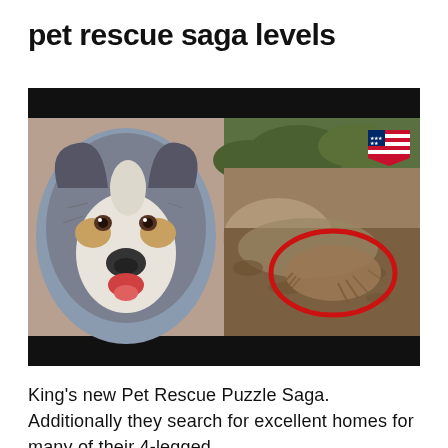pet rescue saga levels
[Figure (photo): Composite image showing an Australian Shepherd dog on the left looking at the camera, and on the right a muddy scene outdoors with a red oval circle highlighting an animal stuck in mud. An American flag icon appears in the upper right of the image. The image has black bars at the top and bottom.]
King's new Pet Rescue Puzzle Saga. Additionally they search for excellent homes for many of their 4-legged